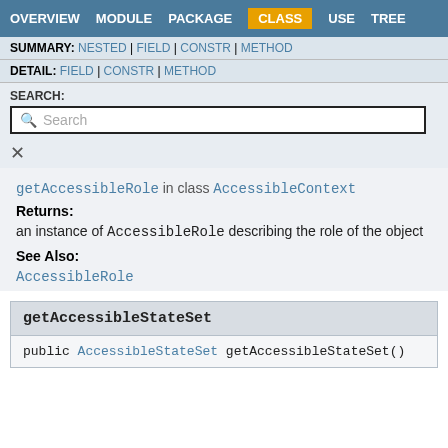OVERVIEW  MODULE  PACKAGE  CLASS  USE  TREE
SUMMARY: NESTED | FIELD | CONSTR | METHOD
DETAIL: FIELD | CONSTR | METHOD
SEARCH:
Search
getAccessibleRole in class AccessibleContext
Returns:
an instance of AccessibleRole describing the role of the object
See Also:
AccessibleRole
getAccessibleStateSet
public AccessibleStateSet getAccessibleStateSet()